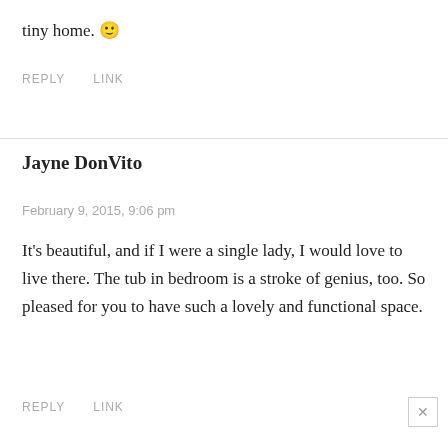tiny home. 🙂
REPLY   LINK
Jayne DonVito
February 9, 2015, 9:06 pm
It’s beautiful, and if I were a single lady, I would love to live there. The tub in bedroom is a stroke of genius, too. So pleased for you to have such a lovely and functional space.
REPLY   LINK